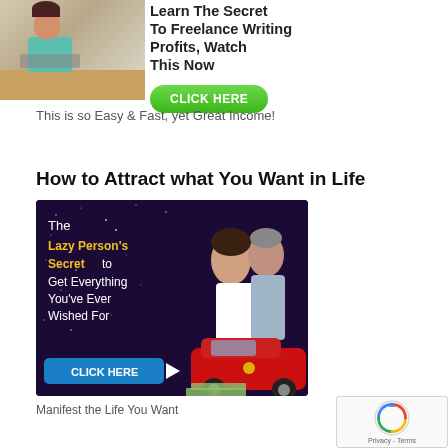[Figure (illustration): Top ad banner with woman at desk on the left and 'Learn The Secret To Freelance Writing Profits, Watch This Now' headline with green CLICK HERE button]
This is so Easy & Fast, yet Great Income!
How to Attract what You Want in Life
[Figure (illustration): Ad banner with dark purple starry background, couple and red sports car. Text: 'The Lazy Person's Secret to Get Everything You've Ever Wished For' with blue CLICK HERE button]
Manifest the Life You Want